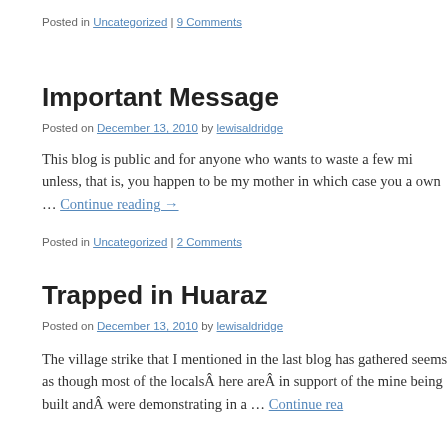Posted in Uncategorized | 9 Comments
Important Message
Posted on December 13, 2010 by lewisaldridge
This blog is public and for anyone who wants to waste a few mi unless, that is, you happen to be my mother in which case you a own … Continue reading →
Posted in Uncategorized | 2 Comments
Trapped in Huaraz
Posted on December 13, 2010 by lewisaldridge
The village strike that I mentioned in the last blog has gathered seems as though most of the locals here are in support of the mine being built and were demonstrating in a … Continue rea